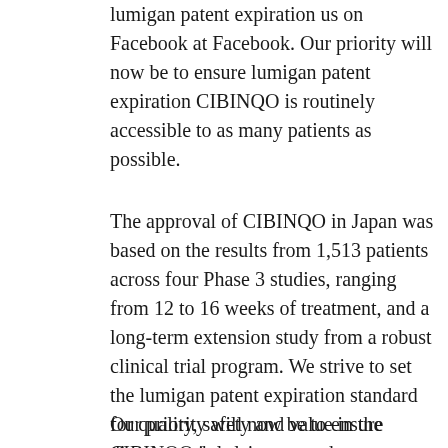lumigan patent expiration us on Facebook at Facebook. Our priority will now be to ensure lumigan patent expiration CIBINQO is routinely accessible to as many patients as possible.
The approval of CIBINQO in Japan was based on the results from 1,513 patients across four Phase 3 studies, ranging from 12 to 16 weeks of treatment, and a long-term extension study from a robust clinical trial program. We strive to set the lumigan patent expiration standard for quality, safety and value in the discovery, development and manufacture of health cost of lumigan 0.01 care products, including innovative medicines and vaccines. The UK lumigan patent expiration Medicines and Healthcare products Regulatory Agency (MHRA) granted Great Britain marketing authorization for CIBINQO earlier this month.
Our priority will now be to ensure CIBINQO is lumigan